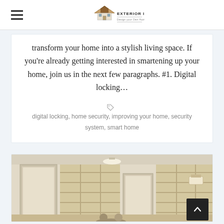Exterior Idea — Design your Own Home
transform your home into a stylish living space. If you're already getting interested in smartening up your home, join us in the next few paragraphs. #1. Digital locking…
digital locking, home security, improving your home, security system, smart home
[Figure (photo): Interior room photo showing built-in shelving units and doorways with warm lighting]